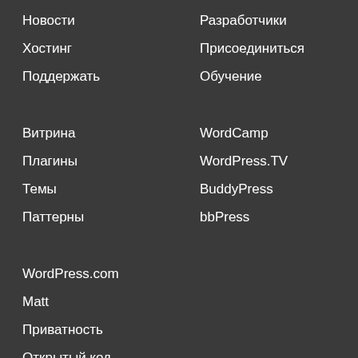Новости
Хостинг
Поддержать
Витрина
Плагины
Темы
Паттерны
WordPress.com
Matt
Приватность
Открытый код
Разработчики
Присоединиться
Обучение
WordCamp
WordPress.TV
BuddyPress
bbPress